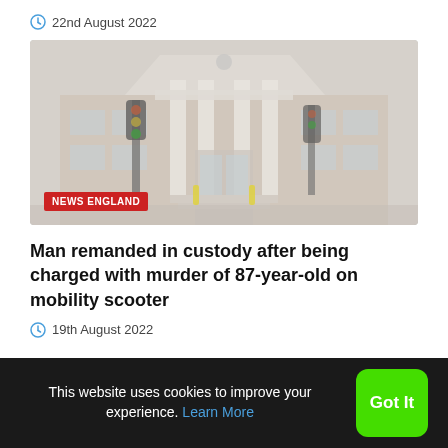22nd August 2022
[Figure (photo): Exterior of a courthouse building with white columns and a triangular pediment, brick facade, traffic lights in foreground. NEWS ENGLAND badge overlaid at bottom left.]
Man remanded in custody after being charged with murder of 87-year-old on mobility scooter
19th August 2022
This website uses cookies to improve your experience. Learn More